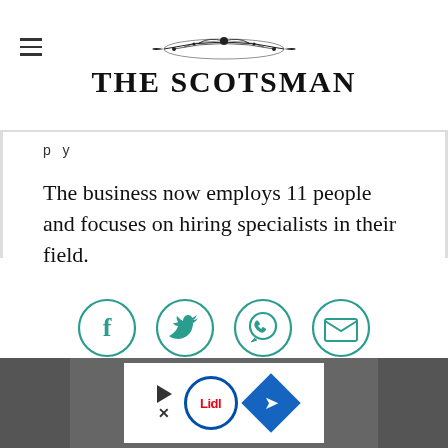THE SCOTSMAN
The business now employs 11 people and focuses on hiring specialists in their field.
[Figure (infographic): Four social sharing icons in teal circles: Facebook, Twitter, WhatsApp, Email]
[Figure (infographic): Advertisement banner with Lidl logo, play button, close button, and navigation arrow on grey background]